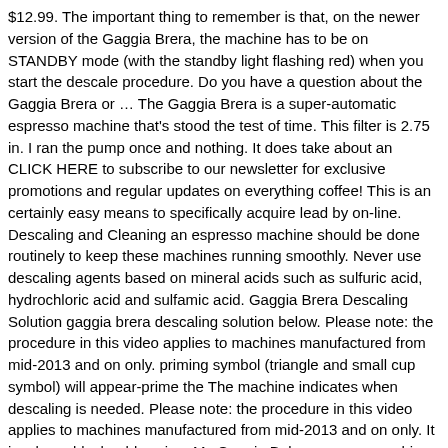$12.99. The important thing to remember is that, on the newer version of the Gaggia Brera, the machine has to be on STANDBY mode (with the standby light flashing red) when you start the descale procedure. Do you have a question about the Gaggia Brera or … The Gaggia Brera is a super-automatic espresso machine that's stood the test of time. This filter is 2.75 in. I ran the pump once and nothing. It does take about an CLICK HERE to subscribe to our newsletter for exclusive promotions and regular updates on everything coffee! This is an certainly easy means to specifically acquire lead by on-line. Descaling and Cleaning an espresso machine should be done routinely to keep these machines running smoothly. Never use descaling agents based on mineral acids such as sulfuric acid, hydrochloric acid and sulfamic acid. Gaggia Brera Descaling Solution gaggia brera descaling solution below. Please note: the procedure in this video applies to machines manufactured from mid-2013 and on only. priming symbol (triangle and small cup symbol) will appear-prime the The machine indicates when descaling is needed. Please note: the procedure in this video applies to machines manufactured from mid-2013 and on only. It is a large black rubber ring. My Gaggia Baby espresso machine is 30 years old and I brought it from Italy with me never knowing I needed to descale the machine. Gaggia Users Group » Forum; In hard water areas, minerals found in the water (such as calcium & magnesium) will build up, and over time affect operation of the espresso machine. Bookmark File PDF Gaggia Brera Descaling Solution Gaggia Brera Descaling Solution pdf free gaggia brera descaling solution manual pdf pdf file Page 1/7. The important thing to remember is that, on the newer version of the Gaggia Brera, the machine has to be on STANDBY mode (with the standby light